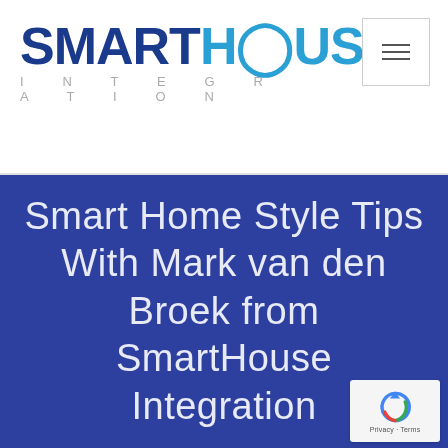[Figure (logo): SmartHouse Integration logo with bold blue SMART and cyan HOUSE text, with INTEGRATION in spaced gray letters below]
[Figure (other): Hamburger menu button with three horizontal lines, bordered box top right]
Smart Home Style Tips With Mark van den Broek from SmartHouse Integration
[Figure (logo): Google reCAPTCHA badge with spinning arrow logo and Privacy · Terms text]